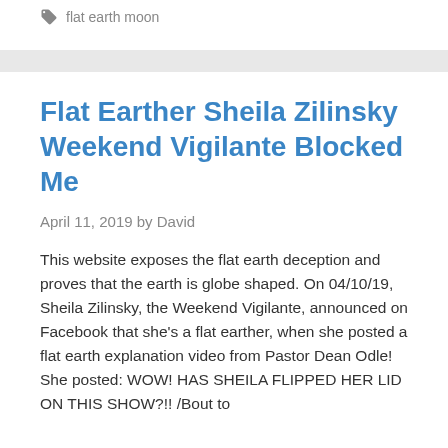flat earth moon
Flat Earther Sheila Zilinsky Weekend Vigilante Blocked Me
April 11, 2019 by David
This website exposes the flat earth deception and proves that the earth is globe shaped. On 04/10/19, Sheila Zilinsky, the Weekend Vigilante, announced on Facebook that she's a flat earther, when she posted a flat earth explanation video from Pastor Dean Odle! She posted: WOW! HAS SHEILA FLIPPED HER LID ON THIS SHOW?!! /Bout to